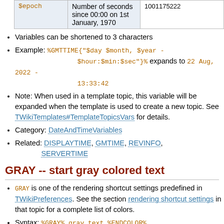| Variable | Description | Example |
| --- | --- | --- |
| $epoch | Number of seconds since 00:00 on 1st January, 1970 | 1001175222 |
Variables can be shortened to 3 characters
Example: %GMTTIME{"$day $month, $year - $hour:$min:$sec"}% expands to 22 Aug, 2022 - 13:33:42
Note: When used in a template topic, this variable will be expanded when the template is used to create a new topic. See TWikiTemplates#TemplateTopicsVars for details.
Category: DateAndTimeVariables
Related: DISPLAYTIME, GMTIME, REVINFO, SERVERTIME
GRAY -- start gray colored text
GRAY is one of the rendering shortcut settings predefined in TWikiPreferences. See the section rendering shortcut settings in that topic for a complete list of colors.
Syntax: %GRAY% gray text %ENDCOLOR%
Expands to: gray text